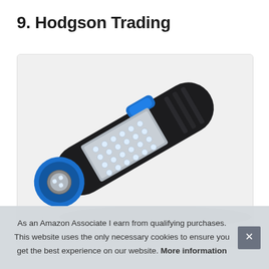9. Hodgson Trading
[Figure (photo): A black and blue LED work flashlight/inspection light with multiple LED bulbs visible on the face and side panel, shown at an angle on a light grey background inside a bordered box.]
As an Amazon Associate I earn from qualifying purchases. This website uses the only necessary cookies to ensure you get the best experience on our website. More information